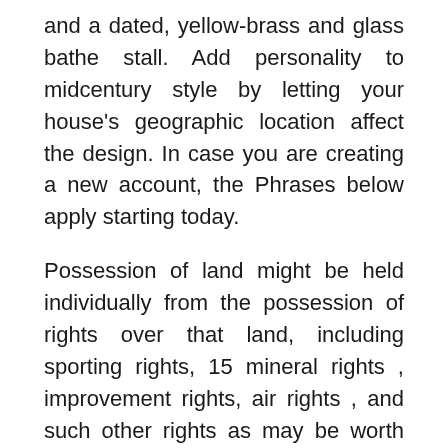and a dated, yellow-brass and glass bathe stall. Add personality to midcentury style by letting your house's geographic location affect the design. In case you are creating a new account, the Phrases below apply starting today.
Possession of land might be held individually from the possession of rights over that land, including sporting rights, 15 mineral rights , improvement rights, air rights , and such other rights as may be worth segregating from easy land ownership. Here, sections of pink-dyed cabinets stand out in a contemporary kitchen the place the remainder of the cabinetry and shelving wears a pure wooden finish.
Use heat wood tones to stability a crisp white kitchen or to reinforce the enchantment of deep green and